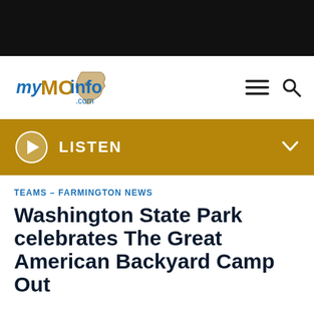[Figure (logo): myMOinfo.com website logo with Missouri state shape graphic]
LISTEN
TEAMS – FARMINGTON NEWS
Washington State Park celebrates The Great American Backyard Camp Out